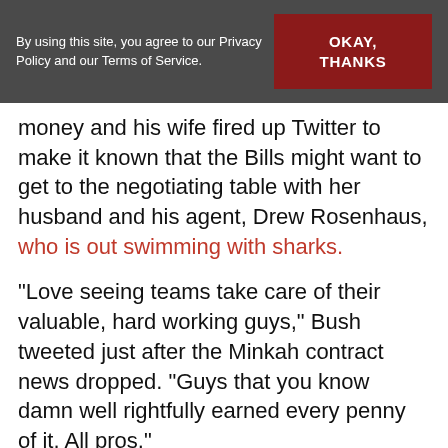By using this site, you agree to our Privacy Policy and our Terms of Service. | OKAY, THANKS
money and his wife fired up Twitter to make it known that the Bills might want to get to the negotiating table with her husband and his agent, Drew Rosenhaus, who is out swimming with sharks.
“Love seeing teams take care of their valuable, hard working guys,” Bush tweeted just after the Minkah contract news dropped. “Guys that you know damn well rightfully earned every penny of it. All pros.”
Once the trolls showed up, Bush put them in their place. This Instagram model who built a 3.5 million follower franchise is that last one you want to tangle